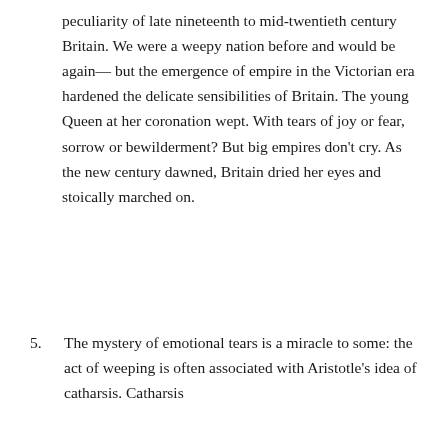peculiarity of late nineteenth to mid-twentieth century Britain. We were a weepy nation before and would be again— but the emergence of empire in the Victorian era hardened the delicate sensibilities of Britain. The young Queen at her coronation wept. With tears of joy or fear, sorrow or bewilderment? But big empires don't cry. As the new century dawned, Britain dried her eyes and stoically marched on.
5. The mystery of emotional tears is a miracle to some: the act of weeping is often associated with Aristotle's idea of catharsis. Catharsis